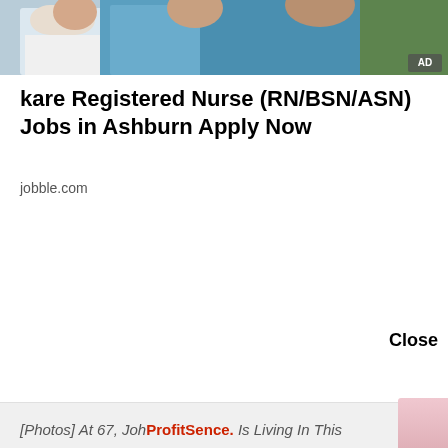[Figure (photo): Nurses in blue scrubs, advertisement image for nursing jobs]
kare Registered Nurse (RN/BSN/ASN) Jobs in Ashburn Apply Now
jobble.com
Close
[Photos] At 67, John ProfitSence. Is Living In This